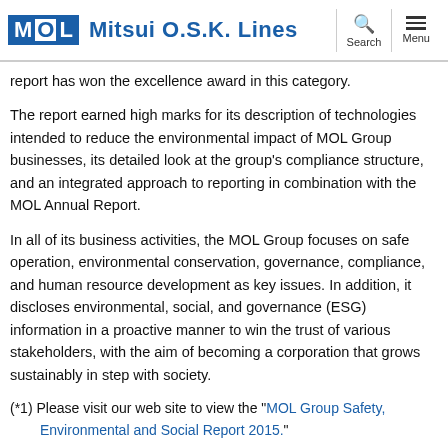Mitsui O.S.K. Lines
report has won the excellence award in this category.
The report earned high marks for its description of technologies intended to reduce the environmental impact of MOL Group businesses, its detailed look at the group's compliance structure, and an integrated approach to reporting in combination with the MOL Annual Report.
In all of its business activities, the MOL Group focuses on safe operation, environmental conservation, governance, compliance, and human resource development as key issues. In addition, it discloses environmental, social, and governance (ESG) information in a proactive manner to win the trust of various stakeholders, with the aim of becoming a corporation that grows sustainably in step with society.
(*1) Please visit our web site to view the "MOL Group Safety, Environmental and Social Report 2015."
(*2) Environmental Communication Awards